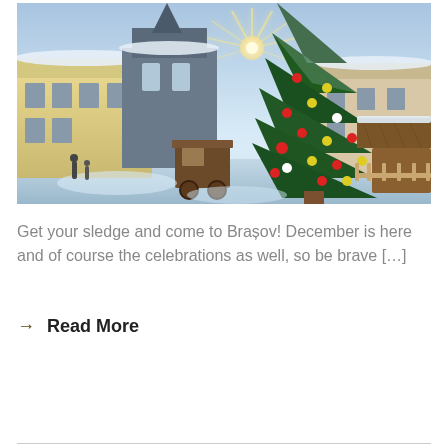[Figure (photo): Winter Christmas market scene in Brașov, Romania. A large decorated Christmas tree stands in the center of a snow-covered town square. Buildings with snow-covered roofs are visible in the background including a church steeple. The sun creates a starburst effect through the tree branches. Wooden market stalls and a thatched-roof structure are visible. The tree is decorated with colorful ornaments in red, yellow, and white. People can be seen walking in the square.]
Get your sledge and come to Brașov! December is here and of course the celebrations as well, so be brave […]
→ Read More